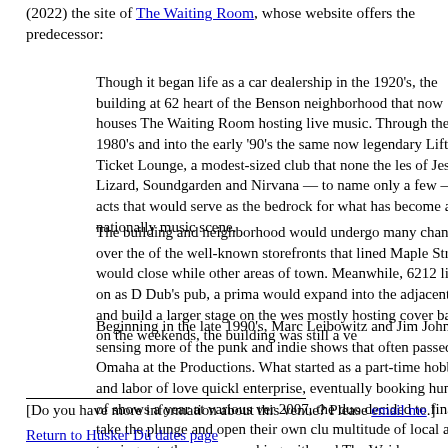(2022) the site of The Waiting Room, whose website offers the predecessor:
Though it began life as a car dealership in the 1920's, the building at 62 heart of the Benson neighborhood that now houses The Waiting Room hosting live music. Through the 1980's and into the early '90s the same now legendary Lift Ticket Lounge, a modest-sized club that none the less of Jesus Lizard, Soundgarden and Nirvana — to name only a few — no acts that would serve as the bedrock for what has become a nationally music scene.
The building and neighborhood would undergo many changes over the of the well-known storefronts that lined Maple Street would close while other areas of town. Meanwhile, 6212 lived on as D Dub's pub, a prima would expand into the adjacent bay and build a larger stage on the wes mostly hosting cover bands on the weekends, the building was still a ve
Beginning in the late 1990's, Marc Leibowitz and Jim Johnson, sensing more of the punk and indie shows that often passed over Omaha at the Productions. What started as a part-time hobby and labor of love quickl enterprise, eventually booking hundreds of shows a year at various ver 2007, the duo decided to finally take the plunge and open their own clu multitude of local and touring acts they were working with and The Wai born.
[Do you have more information about this venue? Please email me.]
Return to Hüsker Dü dates page